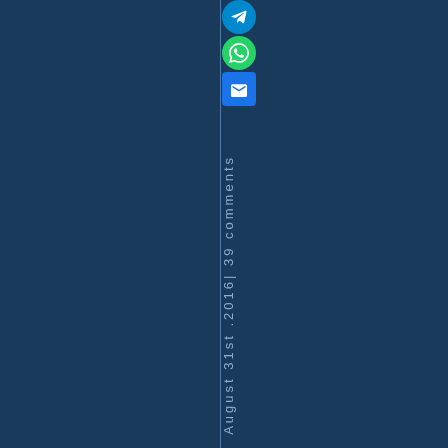[Figure (infographic): Dark blue background page with a vertical sidebar on the right side containing social media share icons (Telegram, WhatsApp, Email) and vertical rotated text reading 'August 31st .2016| 39 comments']
August 31st .2016| 39 comments